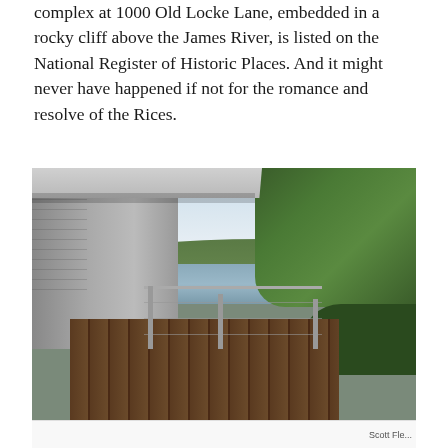complex at 1000 Old Locke Lane, embedded in a rocky cliff above the James River, is listed on the National Register of Historic Places. And it might never have happened if not for the romance and resolve of the Rices.
[Figure (photo): Exterior architectural photo of a modernist house with stone walls and a cantilevered roof overhang. A wood deck with glass and steel cable railings overlooks the James River and green tree-covered hills in the background under a partly cloudy sky.]
Scott Fle...